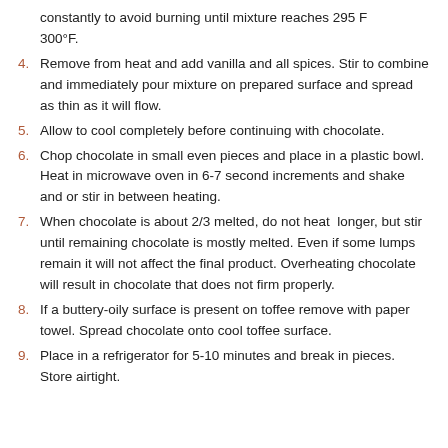constantly to avoid burning until mixture reaches 295 F 300°F.
4. Remove from heat and add vanilla and all spices. Stir to combine and immediately pour mixture on prepared surface and spread as thin as it will flow.
5. Allow to cool completely before continuing with chocolate.
6. Chop chocolate in small even pieces and place in a plastic bowl. Heat in microwave oven in 6-7 second increments and shake and or stir in between heating.
7. When chocolate is about 2/3 melted, do not heat  longer, but stir until remaining chocolate is mostly melted. Even if some lumps remain it will not affect the final product. Overheating chocolate will result in chocolate that does not firm properly.
8. If a buttery-oily surface is present on toffee remove with paper towel. Spread chocolate onto cool toffee surface.
9. Place in a refrigerator for 5-10 minutes and break in pieces. Store airtight.